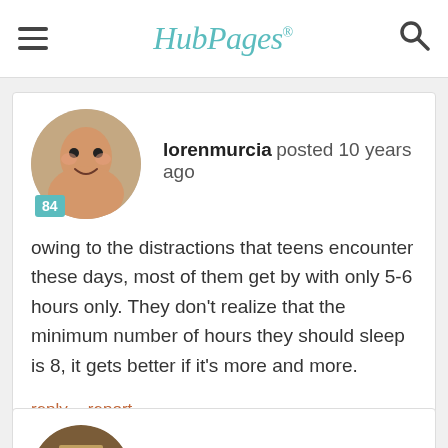HubPages
lorenmurcia posted 10 years ago
owing to the distractions that teens encounter these days, most of them get by with only 5-6 hours only. They don't realize that the minimum number of hours they should sleep is 8, it gets better if it's more and more.
reply   report
thumbi7 posted 10 years ago